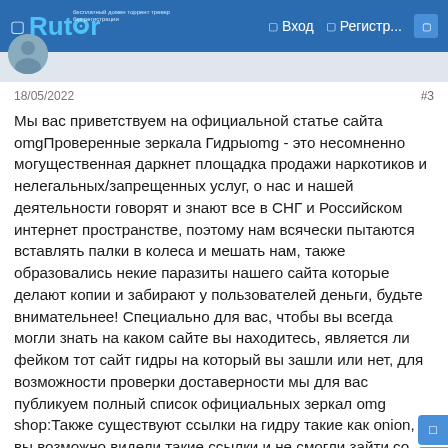Rutor | Вход | Регистр...
18/05/2022
#3
Мы вас приветствуем на официальной статье сайта omgПроверенные зеркала Гидрыomg - это несомненно могущественная даркнет площадка продажи наркотиков и нелегальных/запрещенных услуг, о нас и нашей деятельности говорят и знают все в СНГ и Российском интернет пространстве, поэтому нам всячески пытаются вставлять палки в колеса и мешать нам, также образовались некие паразиты нашего сайта которые делают копии и забирают у пользователей деньги, будьте внимательнее! Специально для вас, чтобы вы всегда могли знать на каком сайте вы находитесь, является ли фейком тот сайт гидры на который вы зашли или нет, для возможности проверки доставерности мы для вас публикуем полный список официальных зеркал omg shop:Также существуют ссылки на гидру такие как onion, вы возможно видели такие ссылки и не смогли зайти со своего обычного